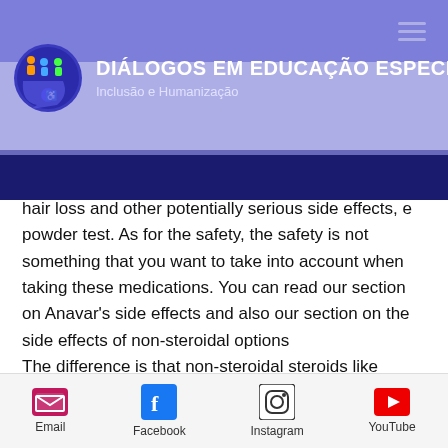[Figure (logo): Diálogos em Educação Especial website header with logo, title and subtitle. Navigation hamburger menu visible top right.]
hair loss and other potentially serious side effects, e powder test. As for the safety, the safety is not something that you want to take into account when taking these medications. You can read our section on Anavar's side effects and also our section on the side effects of non-steroidal options
The difference is that non-steroidal steroids like anavars contain a large
[Figure (infographic): Footer bar with Email, Facebook, Instagram, and YouTube social media icons and labels.]